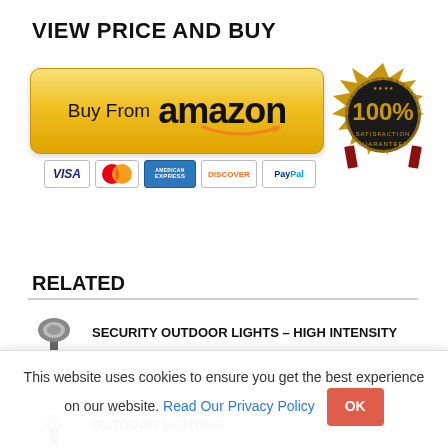VIEW PRICE AND BUY
[Figure (illustration): Yellow Amazon buy button with 'Buy From amazon' text and smile logo, plus payment icons (VISA, MasterCard, American Express, Discover, PayPal), and a gold satisfaction guaranteed 100% seal badge]
RELATED
SECURITY OUTDOOR LIGHTS – HIGH INTENSITY
[Figure (screenshot): Cookie consent banner: 'This website uses cookies to ensure you get the best experience on our website. Read Our Privacy Policy' with OK button]
OUTDOOR LIGHTING